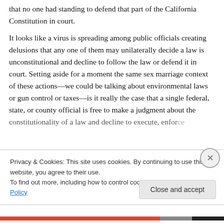that no one had standing to defend that part of the California Constitution in court.
It looks like a virus is spreading among public officials creating delusions that any one of them may unilaterally decide a law is unconstitutional and decline to follow the law or defend it in court. Setting aside for a moment the same sex marriage context of these actions—we could be talking about environmental laws or gun control or taxes—is it really the case that a single federal, state, or county official is free to make a judgment about the constitutionality of a law and decline to execute, enforce
Privacy & Cookies: This site uses cookies. By continuing to use this website, you agree to their use.
To find out more, including how to control cookies, see here: Cookie Policy